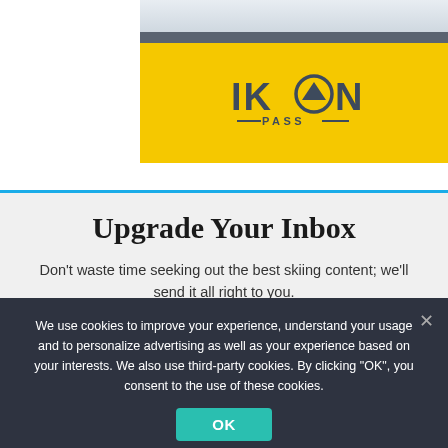[Figure (photo): Snowy mountain background photo (partial crop at top)]
[Figure (logo): IKON PASS logo on yellow background]
Upgrade Your Inbox
Don't waste time seeking out the best skiing content; we'll send it all right to you.
We use cookies to improve your experience, understand your usage and to personalize advertising as well as your experience based on your interests. We also use third-party cookies. By clicking "OK", you consent to the use of these cookies.